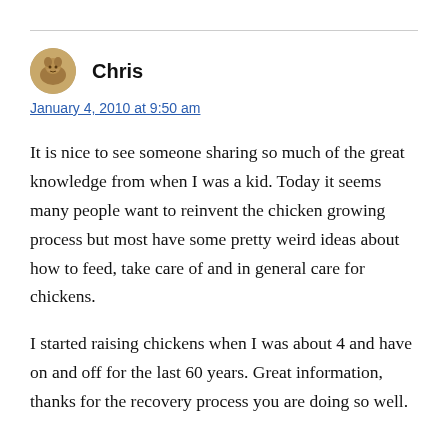Chris
January 4, 2010 at 9:50 am
It is nice to see someone sharing so much of the great knowledge from when I was a kid. Today it seems many people want to reinvent the chicken growing process but most have some pretty weird ideas about how to feed, take care of and in general care for chickens.
I started raising chickens when I was about 4 and have on and off for the last 60 years. Great information, thanks for the recovery process you are doing so well.